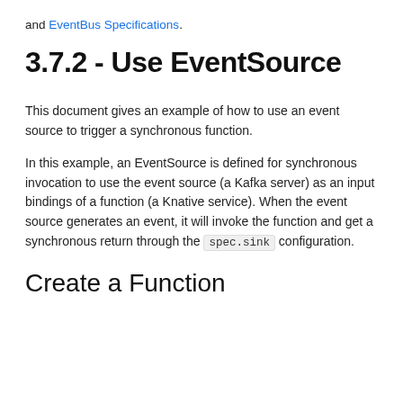and EventBus Specifications.
3.7.2 - Use EventSource
This document gives an example of how to use an event source to trigger a synchronous function.
In this example, an EventSource is defined for synchronous invocation to use the event source (a Kafka server) as an input bindings of a function (a Knative service). When the event source generates an event, it will invoke the function and get a synchronous return through the spec.sink configuration.
Create a Function